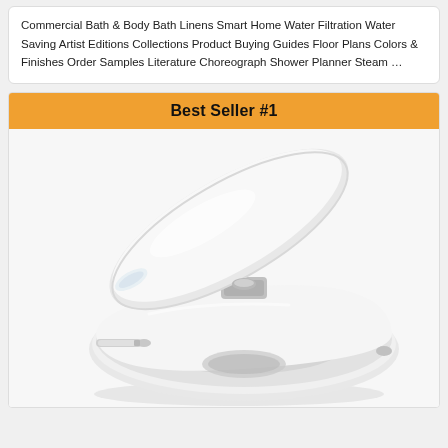Commercial Bath & Body Bath Linens Smart Home Water Filtration Water Saving Artist Editions Collections Product Buying Guides Floor Plans Colors & Finishes Order Samples Literature Choreograph Shower Planner Steam …
Best Seller #1
[Figure (photo): White toilet seat with lid open, showing a bidet attachment nozzle, viewed from an angle against a light background.]